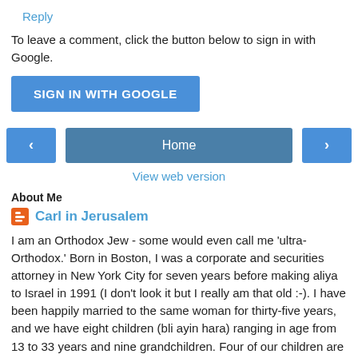Reply
To leave a comment, click the button below to sign in with Google.
SIGN IN WITH GOOGLE
‹
Home
›
View web version
About Me
Carl in Jerusalem
I am an Orthodox Jew - some would even call me 'ultra-Orthodox.' Born in Boston, I was a corporate and securities attorney in New York City for seven years before making aliya to Israel in 1991 (I don't look it but I really am that old :-). I have been happily married to the same woman for thirty-five years, and we have eight children (bli ayin hara) ranging in age from 13 to 33 years and nine grandchildren. Four of our children are married! Before I started